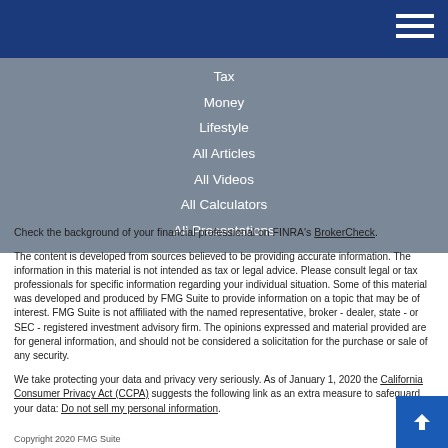Navigation menu header bar
Tax
Money
Lifestyle
All Articles
All Videos
All Calculators
All Presentations
Check the background of your financial professional on FINRA's BrokerCheck.
The content is developed from sources believed to be providing accurate information. The information in this material is not intended as tax or legal advice. Please consult legal or tax professionals for specific information regarding your individual situation. Some of this material was developed and produced by FMG Suite to provide information on a topic that may be of interest. FMG Suite is not affiliated with the named representative, broker - dealer, state - or SEC - registered investment advisory firm. The opinions expressed and material provided are for general information, and should not be considered a solicitation for the purchase or sale of any security.
We take protecting your data and privacy very seriously. As of January 1, 2020 the California Consumer Privacy Act (CCPA) suggests the following link as an extra measure to safeguard your data: Do not sell my personal information.
Copyright 2020 FMG Suite